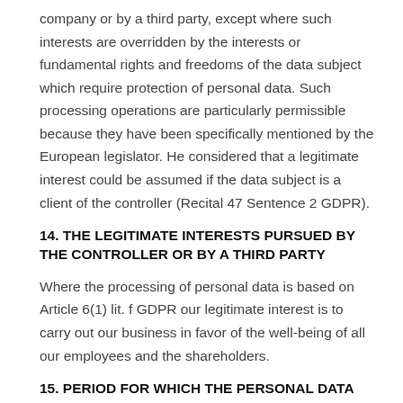company or by a third party, except where such interests are overridden by the interests or fundamental rights and freedoms of the data subject which require protection of personal data. Such processing operations are particularly permissible because they have been specifically mentioned by the European legislator. He considered that a legitimate interest could be assumed if the data subject is a client of the controller (Recital 47 Sentence 2 GDPR).
14. THE LEGITIMATE INTERESTS PURSUED BY THE CONTROLLER OR BY A THIRD PARTY
Where the processing of personal data is based on Article 6(1) lit. f GDPR our legitimate interest is to carry out our business in favor of the well-being of all our employees and the shareholders.
15. PERIOD FOR WHICH THE PERSONAL DATA WILL BE STORED